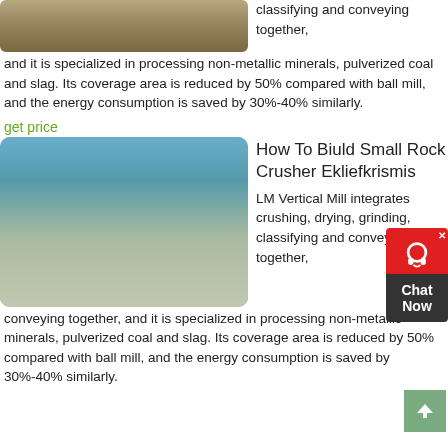[Figure (photo): Aerial or outdoor view of a quarry or mining landscape, brown and sandy tones]
classifying and conveying together, and it is specialized in processing non-metallic minerals, pulverized coal and slag. Its coverage area is reduced by 50% compared with ball mill, and the energy consumption is saved by 30%-40% similarly.
get price
[Figure (photo): Industrial rock crusher machine at a mining or quarry site, blue sky in background]
How To Biuld Small Rock Crusher Ekliefkrismis
LM Vertical Mill integrates crushing, drying, grinding, classifying and conveying together, and it is specialized in processing non-metallic minerals, pulverized coal and slag. Its coverage area is reduced by 50% compared with ball mill, and the energy consumption is saved by 30%-40% similarly.